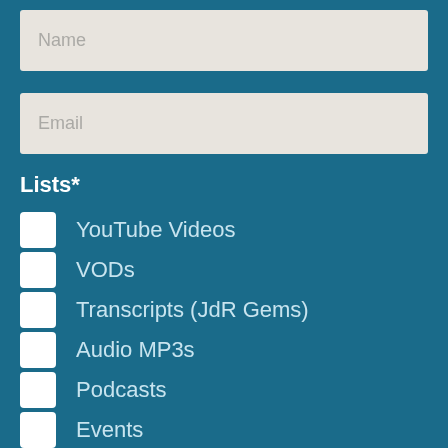Name
Email
Lists*
YouTube Videos
VODs
Transcripts (JdR Gems)
Audio MP3s
Podcasts
Events
Please accept our Terms & Conditions and
Privacy Policy